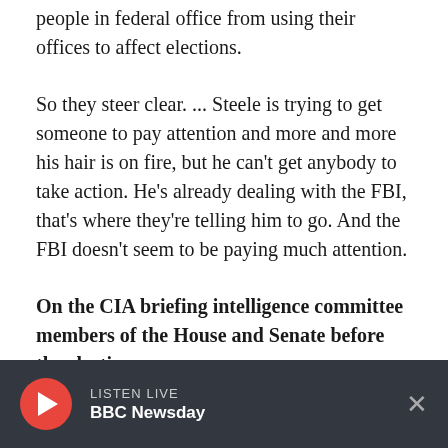people in federal office from using their offices to affect elections.
So they steer clear. ... Steele is trying to get someone to pay attention and more and more his hair is on fire, but he can't get anybody to take action. He's already dealing with the FBI, that's where they're telling him to go. And the FBI doesn't seem to be paying much attention.
On the CIA briefing intelligence committee members of the House and Senate before the election
LISTEN LIVE BBC Newsday